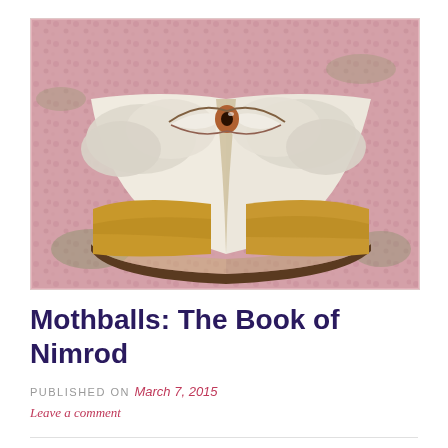[Figure (photo): An open book lying on a floral background (pink flowers/carpet). The open pages display an artistic illustration of a large eye surrounded by clouds above a golden/yellow landscape. The book cover is dark brown.]
Mothballs: The Book of Nimrod
PUBLISHED ON March 7, 2015
Leave a comment